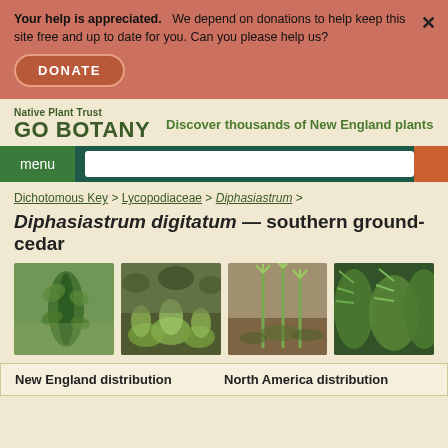Your help is appreciated. We depend on donations to help keep this site free and up to date for you. Can you please help us?
DONATE
Native Plant Trust GO BOTANY — Discover thousands of New England plants
menu
Dichotomous Key > Lycopodiaceae > Diphasiastrum >
Diphasiastrum digitatum — southern ground-cedar
[Figure (photo): Close-up photo of a Diphasiastrum digitatum plant stem with small green leaves]
[Figure (photo): Wide photo showing Diphasiastrum digitatum ground cover growing among other plants]
[Figure (photo): Photo of Diphasiastrum digitatum showing upright strobili (spore cones) above low-growing foliage]
[Figure (photo): Partial photo of Diphasiastrum digitatum showing dense foliage (cropped)]
New England distribution
North America distribution